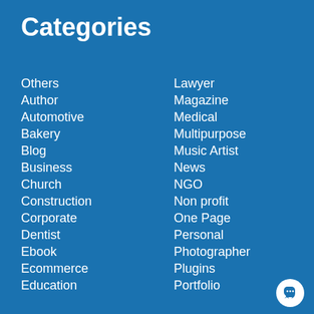Categories
Others
Author
Automotive
Bakery
Blog
Business
Church
Construction
Corporate
Dentist
Ebook
Ecommerce
Education
Lawyer
Magazine
Medical
Multipurpose
Music Artist
News
NGO
Non profit
One Page
Personal
Photographer
Plugins
Portfolio